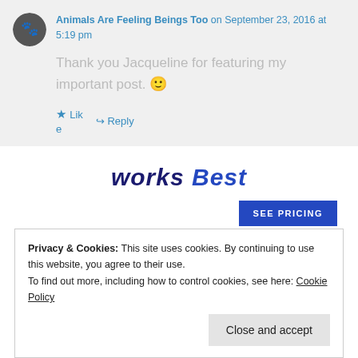Animals Are Feeling Beings Too on September 23, 2016 at 5:19 pm
Thank you Jacqueline for featuring my important post. 🙂
★ Like   ↳ Reply
[Figure (logo): Works Best logo with dark navy and blue italic bold text]
[Figure (other): SEE PRICING button in blue]
Privacy & Cookies: This site uses cookies. By continuing to use this website, you agree to their use.
To find out more, including how to control cookies, see here: Cookie Policy
Close and accept